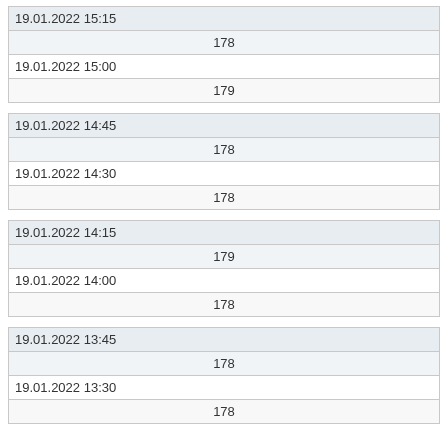| 19.01.2022 15:15 |  |
|  | 178 |
| 19.01.2022 15:00 |  |
|  | 179 |
| 19.01.2022 14:45 |  |
|  | 178 |
| 19.01.2022 14:30 |  |
|  | 178 |
| 19.01.2022 14:15 |  |
|  | 179 |
| 19.01.2022 14:00 |  |
|  | 178 |
| 19.01.2022 13:45 |  |
|  | 178 |
| 19.01.2022 13:30 |  |
|  | 178 |